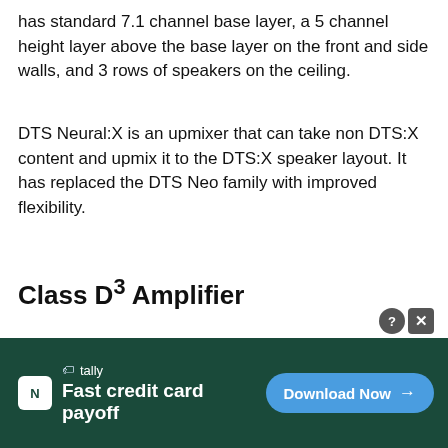has standard 7.1 channel base layer, a 5 channel height layer above the base layer on the front and side walls, and 3 rows of speakers on the ceiling.
DTS Neural:X is an upmixer that can take non DTS:X content and upmix it to the DTS:X speaker layout. It has replaced the DTS Neo family with improved flexibility.
Class D³ Amplifier
[Figure (screenshot): Advertisement banner for Tally app - Fast credit card payoff, with Download Now button]